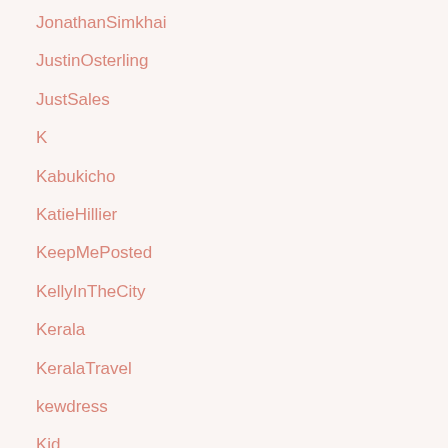JonathanSimkhai
JustinOsterling
JustSales
K
Kabukicho
KatieHillier
KeepMePosted
KellyInTheCity
Kerala
KeralaTravel
kewdress
Kid
KidFriendly
Kids
KidsRoom